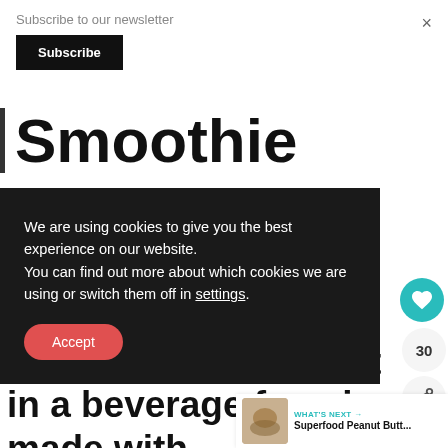Subscribe to our newsletter
Subscribe
×
Smoothie
We are using cookies to give you the best experience on our website.
You can find out more about which cookies we are using or switch them off in settings.
Accept
only 5 minutes. Its like a healthy dessert in a beverage for... is made with superfoods.
30
WHAT'S NEXT → Superfood Peanut Butt...